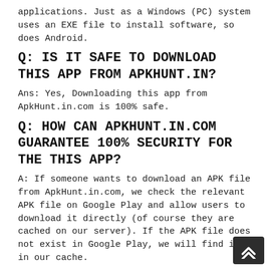applications. Just as a Windows (PC) system uses an EXE file to install software, so does Android.
Q: IS IT SAFE TO DOWNLOAD THIS APP FROM APKHUNT.IN?
Ans: Yes, Downloading this app from ApkHunt.in.com is 100% safe.
Q: HOW CAN APKHUNT.IN.COM GUARANTEE 100% SECURITY FOR THE THIS APP?
A: If someone wants to download an APK file from ApkHunt.in.com, we check the relevant APK file on Google Play and allow users to download it directly (of course they are cached on our server). If the APK file does not exist in Google Play, we will find it in our cache.
Q: CAN I UPDATE THE APK FROM